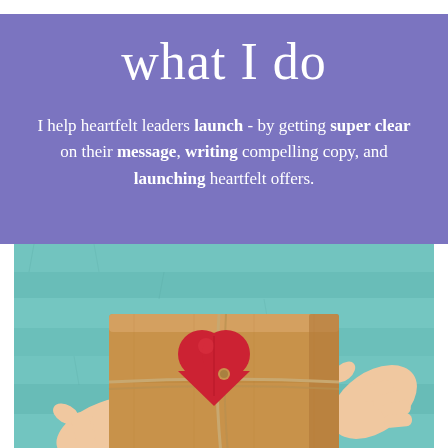what I do
I help heartfelt leaders launch - by getting super clear on their message, writing compelling copy, and launching heartfelt offers.
[Figure (photo): Hands holding a brown cardboard gift box tied with twine, with a red felt heart on top, against a teal/turquoise painted wooden background.]